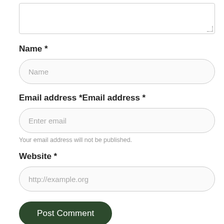[Figure (screenshot): Textarea input box (partially visible at top of page) with resize handle at bottom right]
Name *
[Figure (screenshot): Rounded text input field with placeholder text 'Name']
Email address *Email address *
[Figure (screenshot): Rounded text input field with placeholder text 'Enter email']
Your email address will not be published.
Website *
[Figure (screenshot): Rounded text input field with placeholder text 'http://example.org']
Post Comment